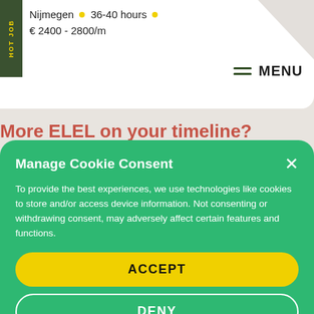Nijmegen • 36-40 hours • € 2400 - 2800/m
MENU
More ELEL on your timeline?
Manage Cookie Consent
To provide the best experiences, we use technologies like cookies to store and/or access device information. Not consenting or withdrawing consent, may adversely affect certain features and functions.
ACCEPT
DENY
Cookie Policy